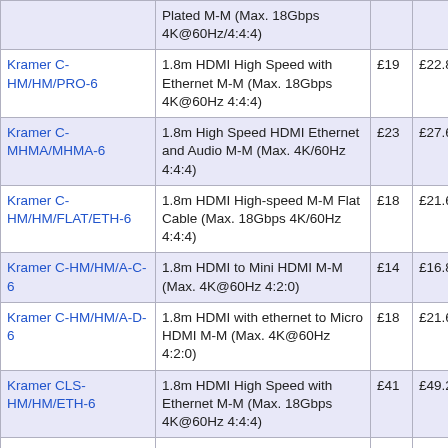| Product | Description | Price | Inc. VAT |
| --- | --- | --- | --- |
|  | Plated M-M (Max. 18Gbps 4K@60Hz/4:4:4) |  |  |
| Kramer C-HM/HM/PRO-6 | 1.8m HDMI High Speed with Ethernet M-M (Max. 18Gbps 4K@60Hz 4:4:4) | £19 | £22.80 |
| Kramer C-MHMA/MHMA-6 | 1.8m High Speed HDMI Ethernet and Audio M-M (Max. 4K/60Hz 4:4:4) | £23 | £27.60 |
| Kramer C-HM/HM/FLAT/ETH-6 | 1.8m HDMI High-speed M-M Flat Cable (Max. 18Gbps 4K/60Hz 4:4:4) | £18 | £21.60 |
| Kramer C-HM/HM/A-C-6 | 1.8m HDMI to Mini HDMI M-M (Max. 4K@60Hz 4:2:0) | £14 | £16.80 |
| Kramer C-HM/HM/A-D-6 | 1.8m HDMI with ethernet to Micro HDMI M-M (Max. 4K@60Hz 4:2:0) | £18 | £21.60 |
| Kramer CLS-HM/HM/ETH-6 | 1.8m HDMI High Speed with Ethernet M-M (Max. 18Gbps 4K@60Hz 4:4:4) | £41 | £49.20 |
| Kramer C-HM/HM/ETH-6 | 1.8m HDMI-HDMI Cable Gold Plated (M-M) with ethernet | £37 | £44.40 |
| Kramer C- | 1.8m Black Ultra-slim HDMI | £13 | £15.60 |